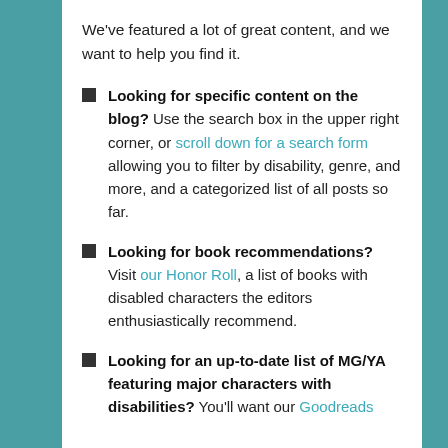We've featured a lot of great content, and we want to help you find it.
Looking for specific content on the blog? Use the search box in the upper right corner, or scroll down for a search form allowing you to filter by disability, genre, and more, and a categorized list of all posts so far.
Looking for book recommendations? Visit our Honor Roll, a list of books with disabled characters the editors enthusiastically recommend.
Looking for an up-to-date list of MG/YA featuring major characters with disabilities? You'll want our Goodreads